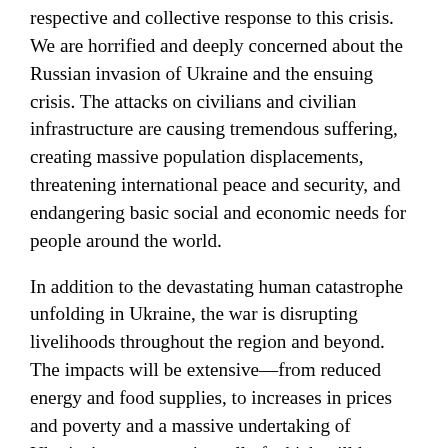respective and collective response to this crisis. We are horrified and deeply concerned about the Russian invasion of Ukraine and the ensuing crisis. The attacks on civilians and civilian infrastructure are causing tremendous suffering, creating massive population displacements, threatening international peace and security, and endangering basic social and economic needs for people around the world.
In addition to the devastating human catastrophe unfolding in Ukraine, the war is disrupting livelihoods throughout the region and beyond. The impacts will be extensive—from reduced energy and food supplies, to increases in prices and poverty and a massive undertaking of Ukraine's reconstruction, all of which will hamper the post-pandemic recovery around the world.